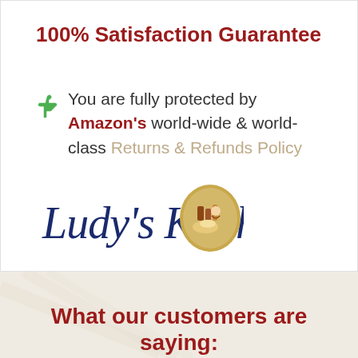100% Satisfaction Guarantee
You are fully protected by Amazon's world-wide & world-class Returns & Refunds Policy
[Figure (logo): Ludy's Kitchen logo with cursive script text and oval food illustration]
What our customers are saying: